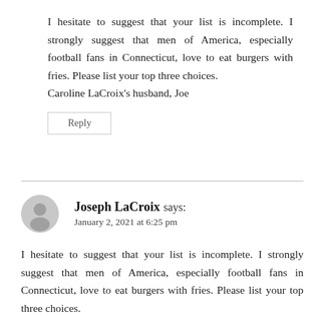I hesitate to suggest that your list is incomplete. I strongly suggest that men of America, especially football fans in Connecticut, love to eat burgers with fries. Please list your top three choices.
Caroline LaCroix's husband, Joe
Reply
Joseph LaCroix says:
January 2, 2021 at 6:25 pm
I hesitate to suggest that your list is incomplete. I strongly suggest that men of America, especially football fans in Connecticut, love to eat burgers with fries. Please list your top three choices.